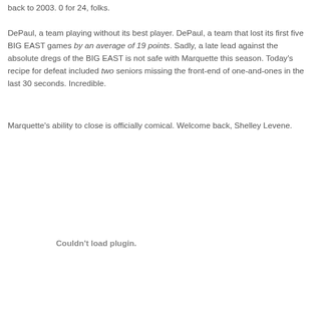back to 2003. 0 for 24, folks. DePaul, a team playing without its best player. DePaul, a team that lost its first five BIG EAST games by an average of 19 points. Sadly, a late lead against the absolute dregs of the BIG EAST is not safe with Marquette this season. Today's recipe for defeat included two seniors missing the front-end of one-and-ones in the last 30 seconds. Incredible.
Marquette's ability to close is officially comical. Welcome back, Shelley Levene.
[Figure (other): Plugin area showing 'Couldn't load plugin.' message]